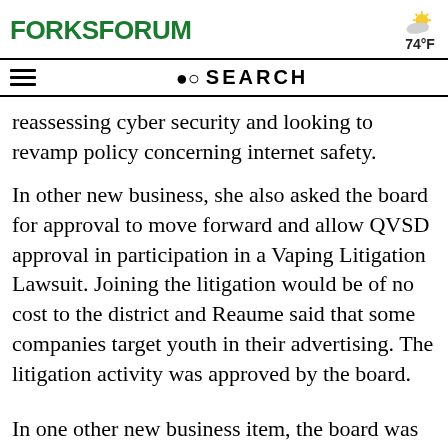FORKS FORUM | 74°F
reassessing cyber security and looking to revamp policy concerning internet safety.
In other new business, she also asked the board for approval to move forward and allow QVSD approval in participation in a Vaping Litigation Lawsuit. Joining the litigation would be of no cost to the district and Reaume said that some companies target youth in their advertising. The litigation activity was approved by the board.
In one other new business item, the board was asked for approval on moving forward with a Tribal and Dual Language Grant. The grant would help